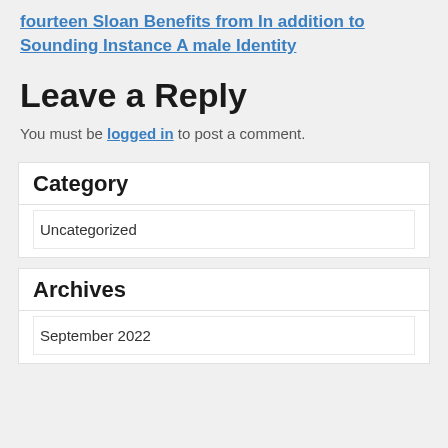fourteen Sloan Benefits from In addition to Sounding Instance A male Identity
Leave a Reply
You must be logged in to post a comment.
Category
Uncategorized
Archives
September 2022